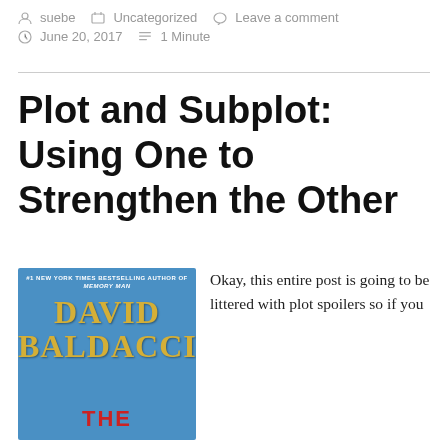suebe  Uncategorized  Leave a comment  June 20, 2017  1 Minute
Plot and Subplot: Using One to Strengthen the Other
[Figure (illustration): Book cover of David Baldacci novel with blue background, gold author name text, and red title text at bottom. Header reads: #1 NEW YORK TIMES BESTSELLING AUTHOR OF MEMORY MAN]
Okay, this entire post is going to be littered with plot spoilers so if you